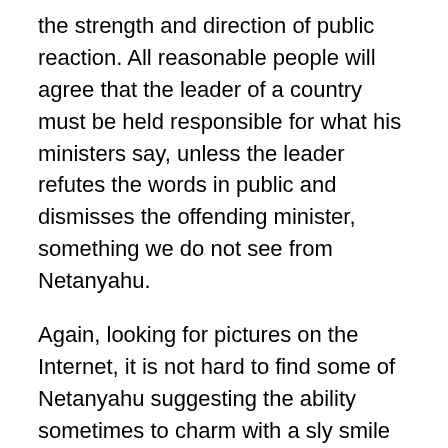the strength and direction of public reaction. All reasonable people will agree that the leader of a country must be held responsible for what his ministers say, unless the leader refutes the words in public and dismisses the offending minister, something we do not see from Netanyahu.
Again, looking for pictures on the Internet, it is not hard to find some of Netanyahu suggesting the ability sometimes to charm with a sly smile and inviting gestures. Here we also have the testimony of some world figures. He is apparently able to be quite charming in private, while at the same time lying through his teeth. The narcissism is clear.
The army too is the primary tool of state for Netanyahu. He himself served, was wounded, and he expects others to do so uncomplainingly, including those with religious